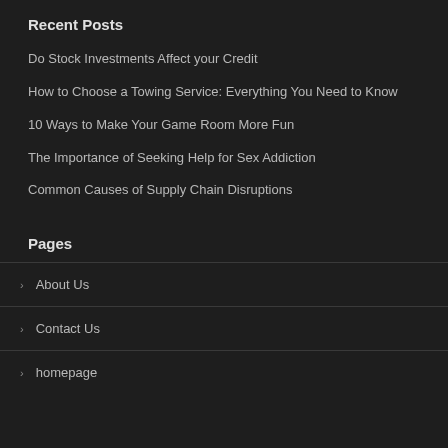Recent Posts
Do Stock Investments Affect your Credit
How to Choose a Towing Service: Everything You Need to Know
10 Ways to Make Your Game Room More Fun
The Importance of Seeking Help for Sex Addiction
Common Causes of Supply Chain Disruptions
Pages
About Us
Contact Us
homepage